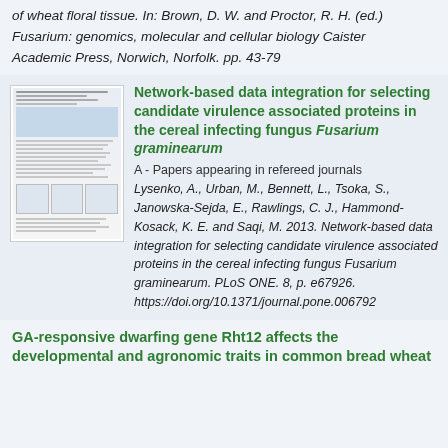of wheat floral tissue. In: Brown, D. W. and Proctor, R. H. (ed.) Fusarium: genomics, molecular and cellular biology Caister Academic Press, Norwich, Norfolk. pp. 43-79
[Figure (screenshot): Thumbnail image of a journal article page showing columnar text and a blue-highlighted section]
Network-based data integration for selecting candidate virulence associated proteins in the cereal infecting fungus Fusarium graminearum
A - Papers appearing in refereed journals
Lysenko, A., Urban, M., Bennett, L., Tsoka, S., Janowska-Sejda, E., Rawlings, C. J., Hammond-Kosack, K. E. and Saqi, M. 2013. Network-based data integration for selecting candidate virulence associated proteins in the cereal infecting fungus Fusarium graminearum. PLoS ONE. 8, p. e67926. https://doi.org/10.1371/journal.pone.006792
GA-responsive dwarfing gene Rht12 affects the developmental and agronomic traits in common bread wheat